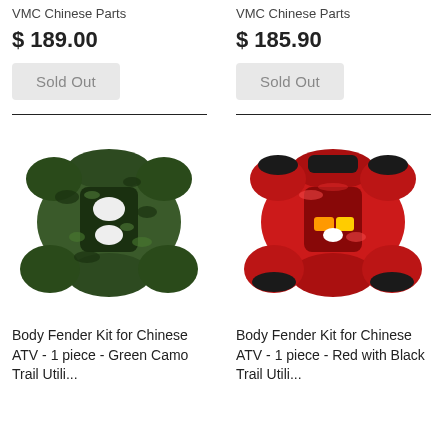VMC Chinese Parts
$ 189.00
Sold Out
VMC Chinese Parts
$ 185.90
Sold Out
[Figure (photo): Top-down view of an ATV body fender kit in green camo color]
[Figure (photo): Top-down view of an ATV body fender kit in red with black trim]
Body Fender Kit for Chinese ATV - 1 piece - Green Camo Trail Utili...
Body Fender Kit for Chinese ATV - 1 piece - Red with Black Trail Utili...